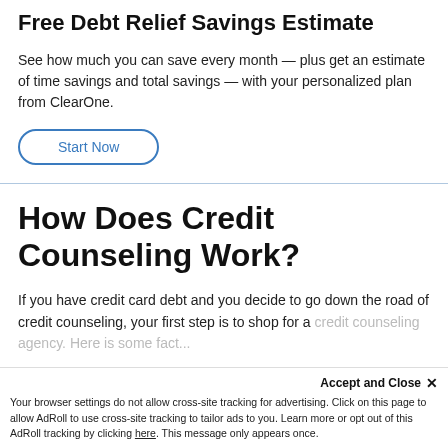Free Debt Relief Savings Estimate
See how much you can save every month — plus get an estimate of time savings and total savings — with your personalized plan from ClearOne.
Start Now
How Does Credit Counseling Work?
If you have credit card debt and you decide to go down the road of credit counseling, your first step is to shop for a credit counseling agency. Here is some fact... with credit counseling agencies does...
Accept and Close ✕ Your browser settings do not allow cross-site tracking for advertising. Click on this page to allow AdRoll to use cross-site tracking to tailor ads to you. Learn more or opt out of this AdRoll tracking by clicking here. This message only appears once.